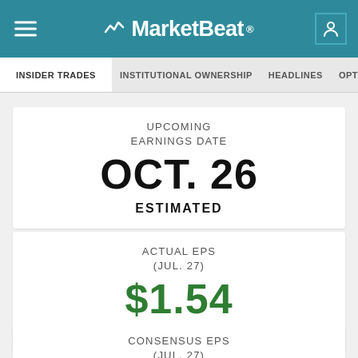MarketBeat
INSIDER TRADES | INSTITUTIONAL OWNERSHIP | HEADLINES | OPTIONS CHAIN
UPCOMING EARNINGS DATE
OCT. 26
ESTIMATED
ACTUAL EPS (JUL. 27)
$1.54
BEAT BY $0.92
CONSENSUS EPS (JUL. 27)
$0.62